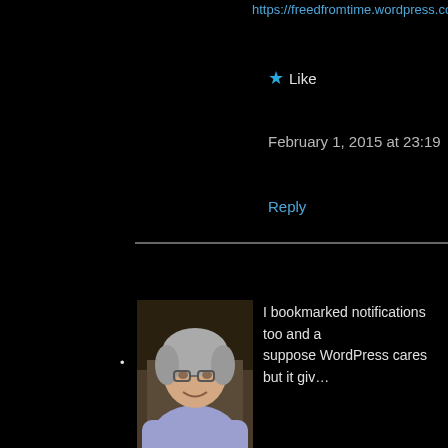https://freedfromtime.wordpress.com/2...
★ Like
February 1, 2015 at 23:19
Reply
[Figure (photo): Profile photo of a smiling older woman with grey hair and glasses, wearing a light blue/lavender shirt]
I bookmarked notifications too and a suppose WordPress cares but it giv...
Taswegian1957
★ Like
February 2, 2015 at 22:44
Reply
[Figure (photo): Partial profile photo at bottom of page]
Great. Me, too, on only using the...